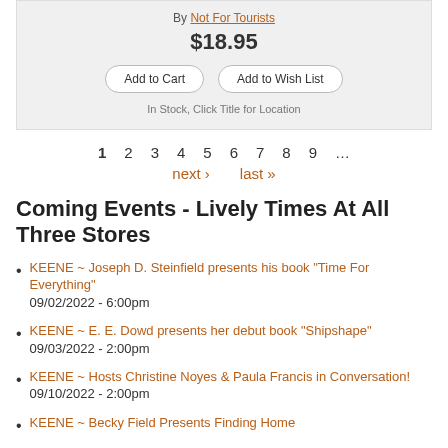By Not For Tourists
$18.95
Add to Cart  Add to Wish List
In Stock, Click Title for Location
1  2  3  4  5  6  7  8  9  ...
next ›  last »
Coming Events - Lively Times At All Three Stores
KEENE ~ Joseph D. Steinfield presents his book "Time For Everything"
09/02/2022 - 6:00pm
KEENE ~ E. E. Dowd presents her debut book "Shipshape"
09/03/2022 - 2:00pm
KEENE ~ Hosts Christine Noyes & Paula Francis in Conversation!
09/10/2022 - 2:00pm
KEENE ~ Becky Field Presents Finding Home